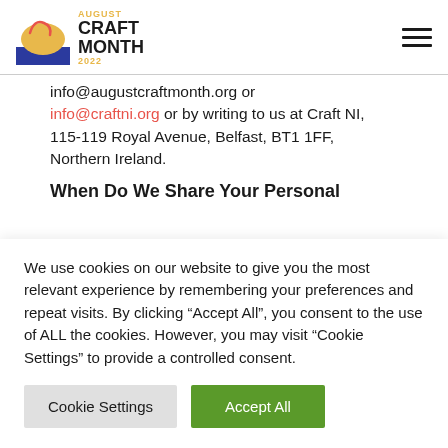August Craft Month 2022
info@augustcraftmonth.org or info@craftni.org or by writing to us at Craft NI, 115-119 Royal Avenue, Belfast, BT1 1FF, Northern Ireland.
When Do We Share Your Personal
We use cookies on our website to give you the most relevant experience by remembering your preferences and repeat visits. By clicking “Accept All”, you consent to the use of ALL the cookies. However, you may visit “Cookie Settings” to provide a controlled consent.